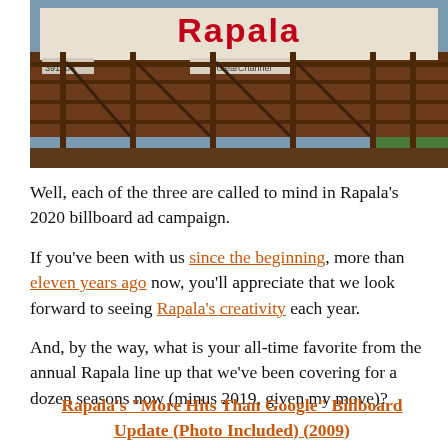[Figure (photo): A Rapala billboard advertisement on a bridge or overpass structure, showing the red Rapala logo at top and a ClearChannel branding on the billboard frame. The structure appears to be a metal bridge with brown/rust coloring.]
Well, each of the three are called to mind in Rapala's 2020 billboard ad campaign.
If you've been with us since the beginning, more than eleven years ago now, you'll appreciate that we look forward to seeing Rapala's creativity each year.
And, by the way, what is your all-time favorite from the annual Rapala line up that we've been covering for a dozen seasons now (minus 2019, given my move)?
Rapala's “More Hits Than Google” Billboard Update (Photo Included) (2009)